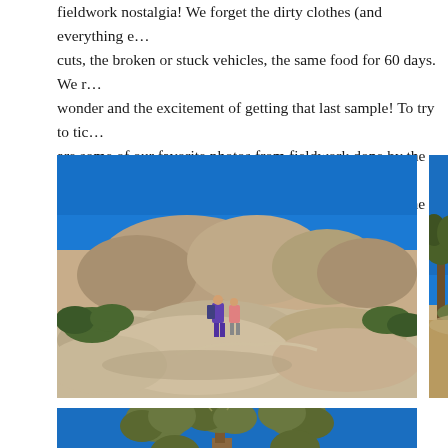fieldwork nostalgia! We forget the dirty clothes (and everything e... cuts, the broken or stuck vehicles, the same food for 60 days. We wonder and the excitement of getting that last sample! To try to t... are some of our favorite photos from fieldwork done by the TME feature photos from you, our readers! See the bottom of the post f...
[Figure (photo): Two hikers walking on large boulders in a desert landscape with Joshua trees and rocky mountains in the background under a clear blue sky]
[Figure (photo): Joshua trees and desert scrubland under a clear blue sky, partially cropped on the right side of the page]
[Figure (photo): Close-up of a Joshua tree canopy against a blue sky with scattered white clouds]